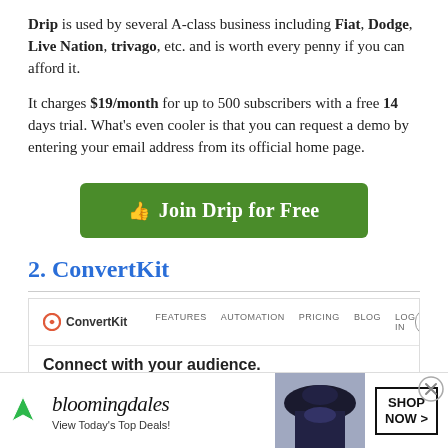Drip is used by several A-class business including Fiat, Dodge, Live Nation, trivago, etc. and is worth every penny if you can afford it.

It charges $19/month for up to 500 subscribers with a free 14 days trial. What's even cooler is that you can request a demo by entering your email address from its official home page.
[Figure (screenshot): Green button reading 'Join Drip for Free' with a thumbs-up icon]
2. ConvertKit
[Figure (screenshot): ConvertKit website screenshot showing navigation bar with logo, links (FEATURES, AUTOMATION, PRICING, BLOG, LOG IN, REQUEST A DEMO) and hero text 'Connect with your audience.']
[Figure (screenshot): Bloomingdale's advertisement: 'View Today's Top Deals!' with SHOP NOW button and woman in hat]